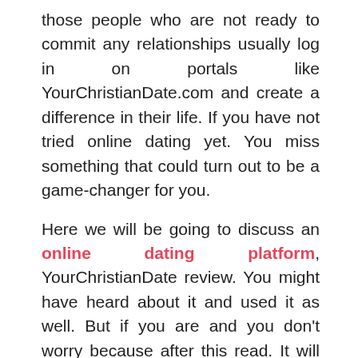those people who are not ready to commit any relationships usually log in on portals like YourChristianDate.com and create a difference in their life. If you have not tried online dating yet. You miss something that could turn out to be a game-changer for you.
Here we will be going to discuss an online dating platform, YourChristianDate review. You might have heard about it and used it as well. But if you are and you don't worry because after this read. It will be quite familiar, and you will not feel like this is not your thing to do.
What is YourChristianDate.com?